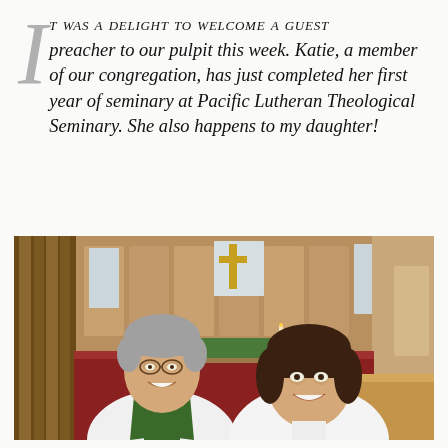IT WAS A DELIGHT TO WELCOME A GUEST preacher to our pulpit this week. Katie, a member of our congregation, has just completed her first year of seminary at Pacific Lutheran Theological Seminary. She also happens to my daughter!
[Figure (photo): A selfie photo of two people smiling in a church sanctuary. On the left is an older man with gray hair, glasses, and wearing a white alb with a green stole. On the right is a younger woman with dark hair wearing white. Behind them is a wooden altar area with carved wood paneling, a gold cross, red carpeting, green altar cloth, and candles.]